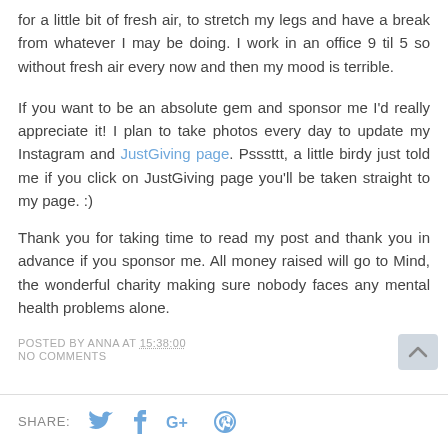for a little bit of fresh air, to stretch my legs and have a break from whatever I may be doing. I work in an office 9 til 5 so without fresh air every now and then my mood is terrible.
If you want to be an absolute gem and sponsor me I'd really appreciate it! I plan to take photos every day to update my Instagram and JustGiving page. Psssttt, a little birdy just told me if you click on JustGiving page you'll be taken straight to my page. :)
Thank you for taking time to read my post and thank you in advance if you sponsor me. All money raised will go to Mind, the wonderful charity making sure nobody faces any mental health problems alone.
POSTED BY ANNA AT 15:38:00
NO COMMENTS
SHARE: